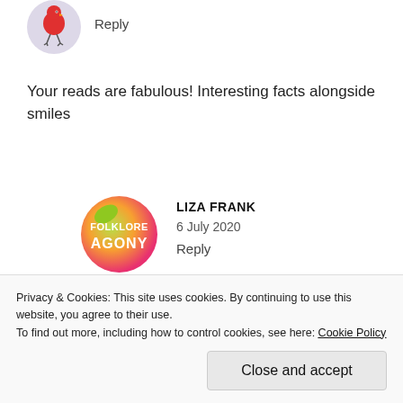[Figure (illustration): Small circular avatar with a cartoon red bird/character illustration on a light purple/grey background with stick legs]
Reply
Your reads are fabulous! Interesting facts alongside smiles
[Figure (logo): Circular logo with green and orange/pink gradient background reading 'FOLKLORE AGONY' in white text]
LIZA FRANK
6 July 2020
Reply
That's such a wonderful thing to write, thank you! The smiles are all mine, today
Privacy & Cookies: This site uses cookies. By continuing to use this website, you agree to their use.
To find out more, including how to control cookies, see here: Cookie Policy
Close and accept